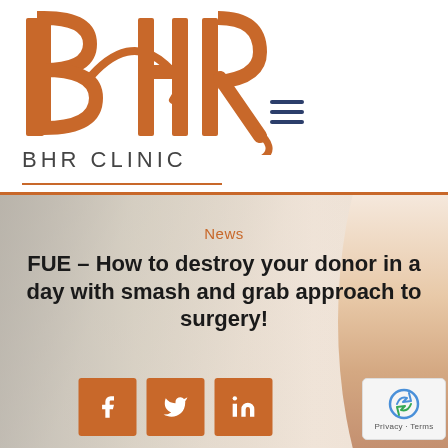[Figure (logo): BHR Clinic logo: stylized BHR letters in orange/copper color with decorative flourish, followed by BHR CLINIC text in grey with orange underline]
News
FUE – How to destroy your donor in a day with smash and grab approach to surgery!
[Figure (photo): Blurred outdoor background with a man in a white shirt visible on the right side, bokeh effect]
[Figure (other): Social media share buttons: Facebook, Twitter, LinkedIn in orange square buttons]
[Figure (other): Google reCAPTCHA badge bottom right corner showing reCAPTCHA logo and Privacy - Terms text]